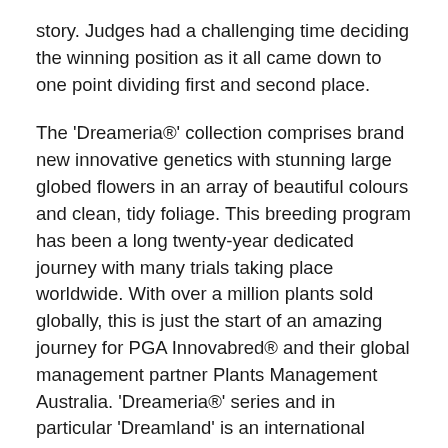story. Judges had a challenging time deciding the winning position as it all came down to one point dividing first and second place.
The 'Dreameria®' collection comprises brand new innovative genetics with stunning large globed flowers in an array of beautiful colours and clean, tidy foliage. This breeding program has been a long twenty-year dedicated journey with many trials taking place worldwide. With over a million plants sold globally, this is just the start of an amazing journey for PGA Innovabred® and their global management partner Plants Management Australia. 'Dreameria®' series and in particular 'Dreamland' is an international favourite, with the collection now being sold worldwide with successful campaigns throughout Canada, Japan,